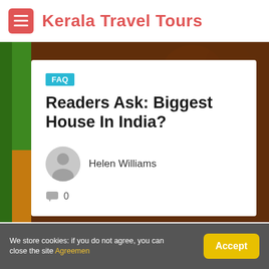Kerala Travel Tours
[Figure (photo): Background image showing decorative Indian motifs/artwork in orange and dark tones]
FAQ
Readers Ask: Biggest House In India?
Helen Williams
0
We store cookies: if you do not agree, you can close the site Agreemen